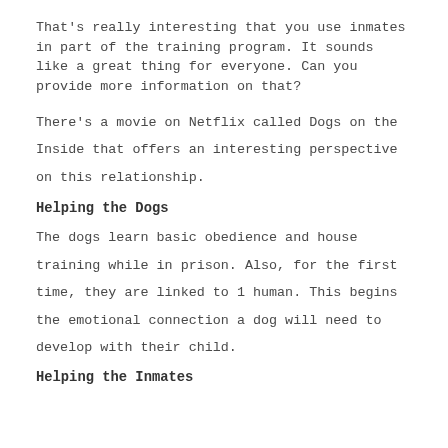That's really interesting that you use inmates in part of the training program. It sounds like a great thing for everyone. Can you provide more information on that?
There's a movie on Netflix called Dogs on the Inside that offers an interesting perspective on this relationship.
Helping the Dogs
The dogs learn basic obedience and house training while in prison. Also, for the first time, they are linked to 1 human. This begins the emotional connection a dog will need to develop with their child.
Helping the Inmates